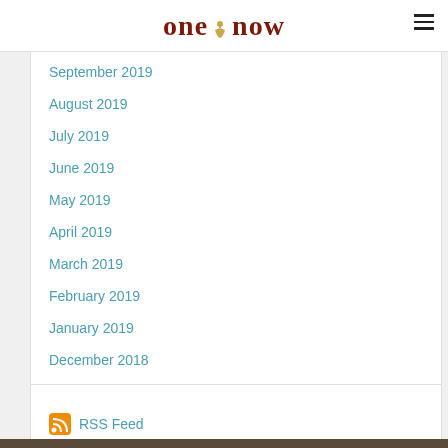one now
September 2019
August 2019
July 2019
June 2019
May 2019
April 2019
March 2019
February 2019
January 2019
December 2018
RSS Feed